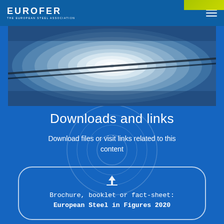EUROFER — THE EUROPEAN STEEL ASSOCIATION
[Figure (photo): Close-up interior view of a steel tube or pipe with concentric spiral grooves, metallic silver-blue tones, industrial steel manufacturing imagery]
Downloads and links
Download files or visit links related to this content
Brochure, booklet or fact-sheet: European Steel in Figures 2020